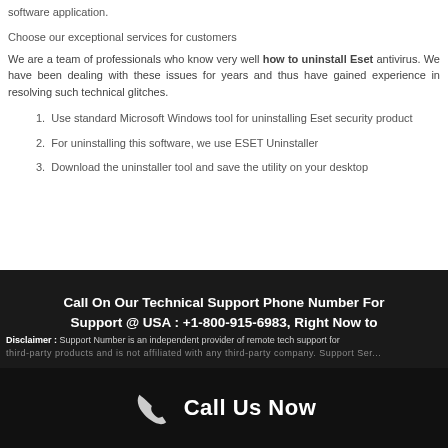software application.
Choose our exceptional services for customers
We are a team of professionals who know very well how to uninstall Eset antivirus. We have been dealing with these issues for years and thus have gained experience in resolving such technical glitches.
1. Use standard Microsoft Windows tool for uninstalling Eset security product
2. For uninstalling this software, we use ESET Uninstaller
3. Download the uninstaller tool and save the utility on your desktop
Call On Our Technical Support Phone Number For Support @ USA : +1-800-915-6983, Right Now to Get Instant Help
Disclaimer : Support Number is an independent provider of remote tech support for third-party products and is not affiliated with any third-party company. Support Ser
Call Us Now